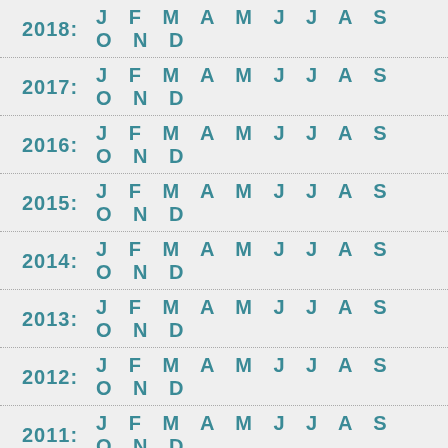2018: J F M A M J J A S O N D
2017: J F M A M J J A S O N D
2016: J F M A M J J A S O N D
2015: J F M A M J J A S O N D
2014: J F M A M J J A S O N D
2013: J F M A M J J A S O N D
2012: J F M A M J J A S O N D
2011: J F M A M J J A S O N D
2010: J F M A M J J A S O N D
2009: J F M A M J J A S O N D